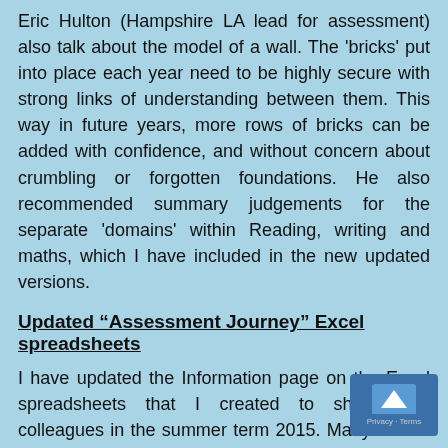Eric Hulton (Hampshire LA lead for assessment) also talk about the model of a wall. The 'bricks' put into place each year need to be highly secure with strong links of understanding between them. This way in future years, more rows of bricks can be added with confidence, and without concern about crumbling or forgotten foundations. He also recommended summary judgements for the separate 'domains' within Reading, writing and maths, which I have included in the new updated versions.
Updated “Assessment Journey” Excel spreadsheets
I have updated the Information page on the Excel spreadsheets that I created to share with colleagues in the summer term 2015. Many thanks again to Andy Higgs (@andrewbhiggs) who kindly shared a se spreadsheets he and his staff had created to t the NC objectives.